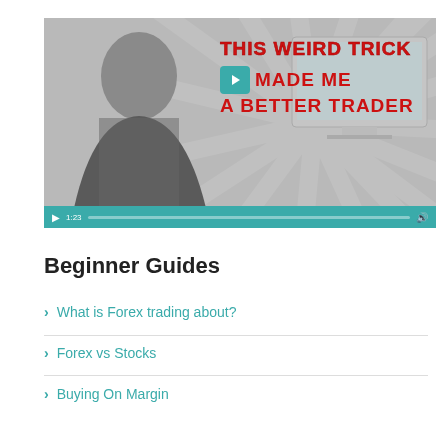[Figure (screenshot): Video thumbnail showing a young Asian man in a plaid shirt with text overlay reading 'THIS WEIRD TRICK MADE ME A BETTER TRADER' in red handwritten-style font, with a play button, sunburst background pattern, and teal video control bar at the bottom showing timestamp 1:23.]
Beginner Guides
What is Forex trading about?
Forex vs Stocks
Buying On Margin